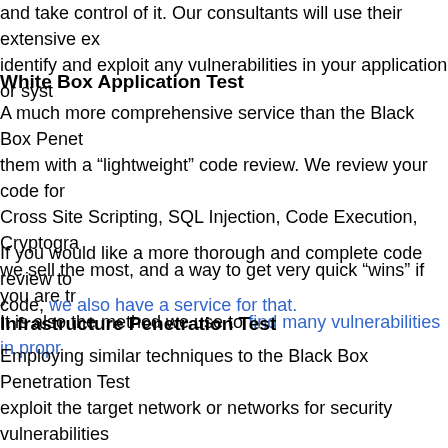and take control of it. Our consultants will use their extensive ex identify and exploit any vulnerabilities in your application or syst
White Box Application Test
A much more comprehensive service than the Black Box Penet them with a “lightweight” code review. We review your code for Cross Site Scripting, SQL Injection, Code Execution, Cryptogra we sell the most, and a way to get very quick “wins” if you are tr It is also the method we use to find many vulnerabilities in propr
If you would like a more thorough and complete code review to code, we also have a service for that.
Infrastructure Penetration Test
Employing similar techniques to the Black Box Penetration Test exploit the target network or networks for security vulnerabilities how to fix it. This test is useful for companies that want to test a an affiliate or branch network, or even to test their entire networ